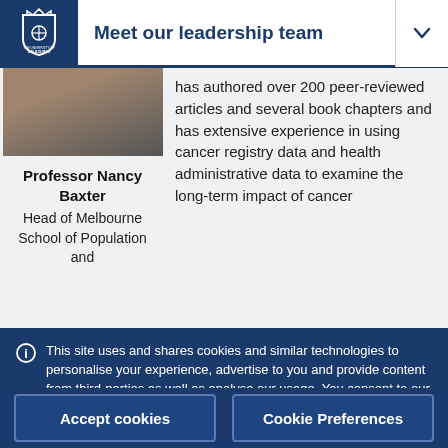Meet our leadership team
[Figure (photo): Profile photo of Professor Nancy Baxter, partial view showing head and shoulders]
Professor Nancy Baxter
Head of Melbourne School of Population and
has authored over 200 peer-reviewed articles and several book chapters and has extensive experience in using cancer registry data and health administrative data to examine the long-term impact of cancer
This site uses and shares cookies and similar technologies to personalise your experience, advertise to you and provide content from third-parties as well as analyse our usage. You consent to our use of such technologies by proceeding. You can change your mind or consent choices at any time. Visit our Privacy Statement for further information.
Accept cookies
Cookie Preferences